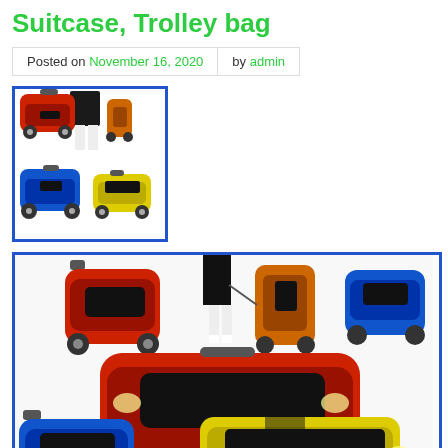Suitcase, Trolley bag
Posted on November 16, 2020 by admin
[Figure (photo): Thumbnail product photo showing multiple car-shaped suitcases/trolley bags in red, blue, and yellow colors, with a person pulling one.]
[Figure (photo): Large product photo showing car-shaped suitcases/trolley bags. Top section shows a red car suitcase standing upright, an orange one being pulled by a person, and a blue one. Bottom section shows a blue car suitcase and a yellow/black bumble-bee colored car suitcase. eBay watermark visible.]